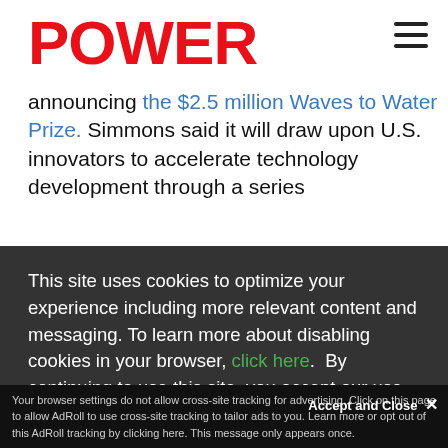POWER
announcing the $2.5 million Waves to Water Prize. Simmons said it will draw upon U.S. innovators to accelerate technology development through a series
ver of note
rom field
ve
This site uses cookies to optimize your experience including more relevant content and messaging. To learn more about disabling cookies in your browser, click here.  By continuing to use this site, you accept our use of cookies. For more information, view our updated Privacy Policy.
I consent
Your browser settings do not allow cross-site tracking for advertising. Click on this page to allow AdRoll to use cross-site tracking to tailor ads to you. Learn more or opt out of this AdRoll tracking by clicking here. This message only appears once.
Accept and Close ✕